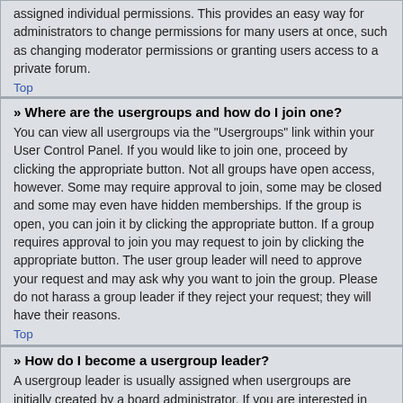assigned individual permissions. This provides an easy way for administrators to change permissions for many users at once, such as changing moderator permissions or granting users access to a private forum.
Top
» Where are the usergroups and how do I join one?
You can view all usergroups via the "Usergroups" link within your User Control Panel. If you would like to join one, proceed by clicking the appropriate button. Not all groups have open access, however. Some may require approval to join, some may be closed and some may even have hidden memberships. If the group is open, you can join it by clicking the appropriate button. If a group requires approval to join you may request to join by clicking the appropriate button. The user group leader will need to approve your request and may ask why you want to join the group. Please do not harass a group leader if they reject your request; they will have their reasons.
Top
» How do I become a usergroup leader?
A usergroup leader is usually assigned when usergroups are initially created by a board administrator. If you are interested in creating a usergroup, your first point of contact should be an administrator; try sending a private message.
Top